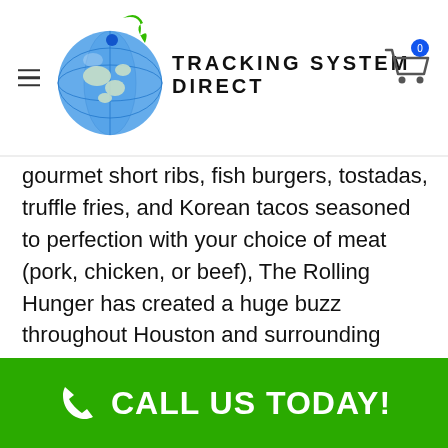Tracking System Direct
gourmet short ribs, fish burgers, tostadas, truffle fries, and Korean tacos seasoned to perfection with your choice of meat (pork, chicken, or beef), The Rolling Hunger has created a huge buzz throughout Houston and surrounding areas.
CALL US TODAY!